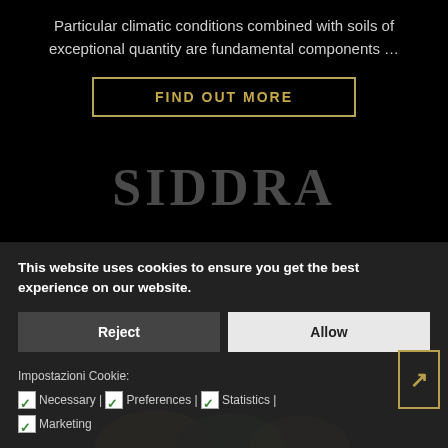Particular climatic conditions combined with soils of exceptional quantity are fundamental components …
FIND OUT MORE
This website uses cookies to ensure you get the best experience on our website.
Reject
Allow
Impostazioni Cookie:
✓ Necessary | ✓ Preferences | ✓ Statistics | ✓ Marketing